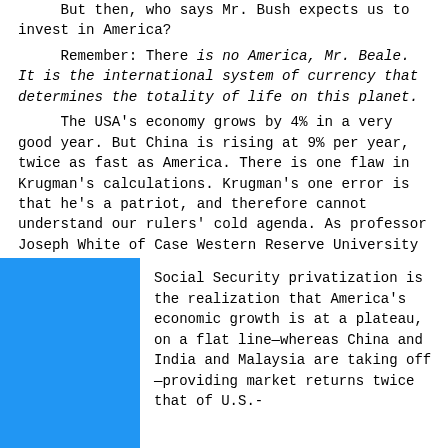increase the ultimate size of the America pie? But then, who says Mr. Bush expects us to invest in America?
Remember: There is no America, Mr. Beale. It is the international system of currency that determines the totality of life on this planet.
The USA's economy grows by 4% in a very good year. But China is rising at 9% per year, twice as fast as America. There is one flaw in Krugman's calculations. Krugman's one error is that he's a patriot, and therefore cannot understand our rulers' cold agenda. As professor Joseph White of Case Western Reserve University explained to me:
Social Security privatization is the realization that America's economic growth is at a plateau, on a flat line—whereas China and India and Malaysia are taking off—providing market returns twice that of U.S.-